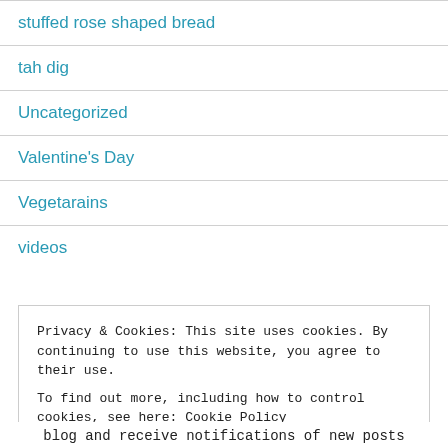stuffed rose shaped bread
tah dig
Uncategorized
Valentine's Day
Vegetarains
videos
Privacy & Cookies: This site uses cookies. By continuing to use this website, you agree to their use.
To find out more, including how to control cookies, see here: Cookie Policy
Close and accept
blog and receive notifications of new posts